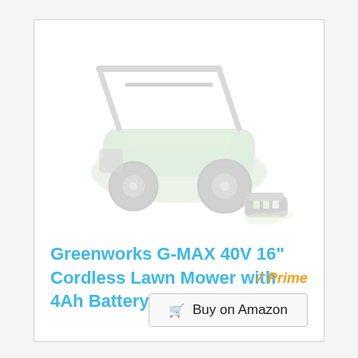[Figure (illustration): Faded/watermarked illustration of a Greenworks G-MAX 40V 16 inch cordless lawn mower, shown in green and black, with battery pack visible beside it.]
Greenworks G-MAX 40V 16" Cordless Lawn Mower with 4Ah Battery - 25322 model
[Figure (logo): Amazon Prime badge with orange checkmark and italic orange Prime text]
Buy on Amazon